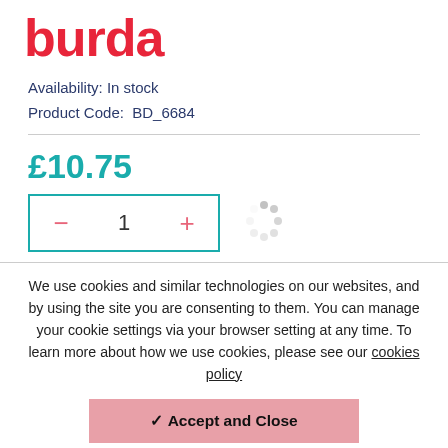[Figure (logo): Burda brand logo in red bold text]
Availability: In stock
Product Code:  BD_6684
£10.75
[Figure (other): Quantity selector with minus button, value 1, plus button, and loading spinner]
We use cookies and similar technologies on our websites, and by using the site you are consenting to them. You can manage your cookie settings via your browser setting at any time. To learn more about how we use cookies, please see our cookies policy
✔ Accept and Close